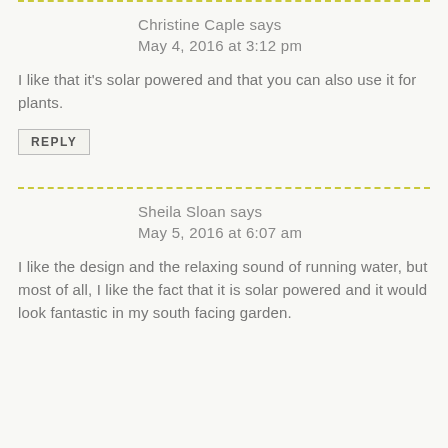Christine Caple says
May 4, 2016 at 3:12 pm
I like that it's solar powered and that you can also use it for plants.
REPLY
Sheila Sloan says
May 5, 2016 at 6:07 am
I like the design and the relaxing sound of running water, but most of all, I like the fact that it is solar powered and it would look fantastic in my south facing garden.